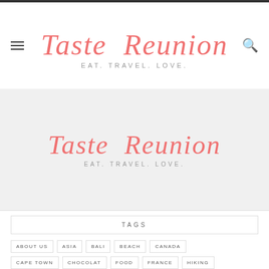[Figure (logo): Taste Reunion logo with 'EAT. TRAVEL. LOVE.' tagline in header navigation bar]
[Figure (logo): Taste Reunion logo with 'EAT. TRAVEL. LOVE.' tagline in gray section]
TAGS
ABOUT US
ASIA
BALI
BEACH
CANADA
CAPE TOWN
CHOCOLAT
FOOD
FRANCE
HIKING